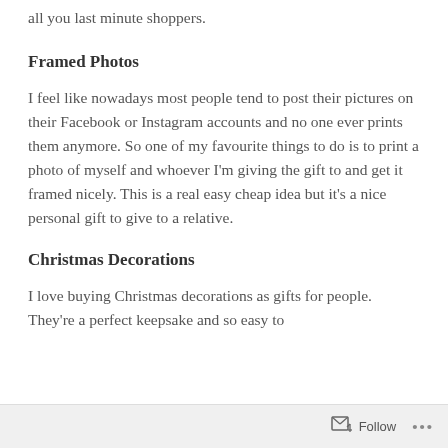all you last minute shoppers.
Framed Photos
I feel like nowadays most people tend to post their pictures on their Facebook or Instagram accounts and no one ever prints them anymore. So one of my favourite things to do is to print a photo of myself and whoever I'm giving the gift to and get it framed nicely. This is a real easy cheap idea but it's a nice personal gift to give to a relative.
Christmas Decorations
I love buying Christmas decorations as gifts for people. They're a perfect keepsake and so easy to
Follow ...